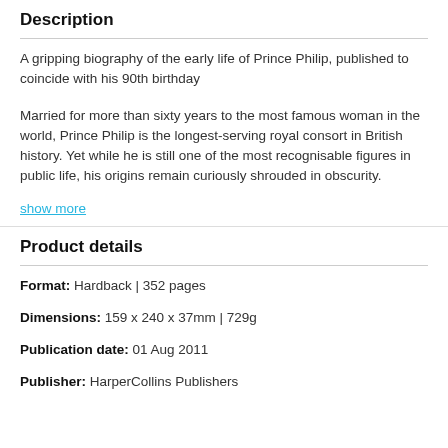Description
A gripping biography of the early life of Prince Philip, published to coincide with his 90th birthday
Married for more than sixty years to the most famous woman in the world, Prince Philip is the longest-serving royal consort in British history. Yet while he is still one of the most recognisable figures in public life, his origins remain curiously shrouded in obscurity.
show more
Product details
Format: Hardback | 352 pages
Dimensions: 159 x 240 x 37mm | 729g
Publication date: 01 Aug 2011
Publisher: HarperCollins Publishers